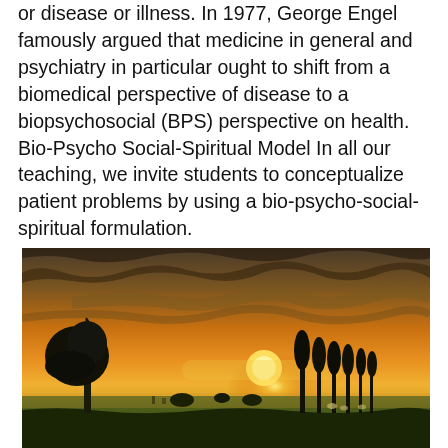or disease or illness. In 1977, George Engel famously argued that medicine in general and psychiatry in particular ought to shift from a biomedical perspective of disease to a biopsychosocial (BPS) perspective on health. Bio-Psycho Social-Spiritual Model In all our teaching, we invite students to conceptualize patient problems by using a bio-psycho-social-spiritual formulation.
[Figure (photo): A sunset landscape photograph showing a flat open field with trees silhouetted against a dramatic orange and golden sky with scattered clouds. The scene appears to be a rural European countryside at dusk.]